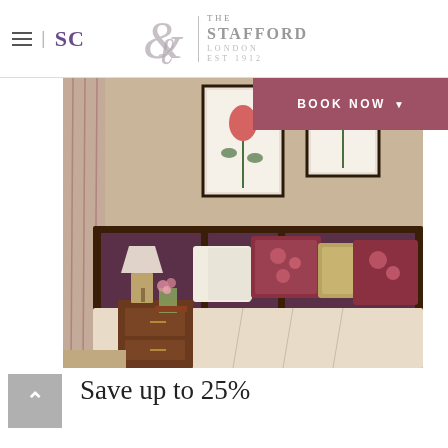☰ | SC   THE STAFFORD LONDON EST 1912
BOOK NOW
[Figure (photo): Hotel bedroom with a large bed featuring floral and gold cushions, a quilted cream bedspread, dark wood headboard with upholstered panels, bedside table with lamp and flowers, and botanical art prints on the beige wall. Floral curtains visible on the left.]
Save up to 25%
Save 25% offer. Save up to 25%...